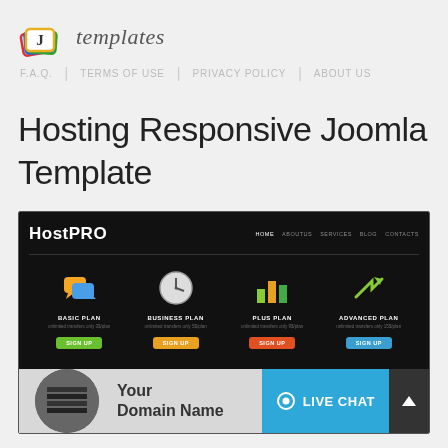[Figure (logo): JI Templates logo with colorful overlapping card-like shapes and italic script text 'templates']
F.A.Q.  |  TERMS OF USE  |  PRIVACY POLICY  |  ABOUT US
Hosting Responsive Joomla Template
[Figure (screenshot): Screenshot of HostPRO Joomla template showing dark header with navigation, four hosting plan columns (BASIC PLAN, BUSINESS PLAN, PLUS PLAN, ADVANCED PLAN) each with icon and sign up button, and a light gray section below with server image, 'Your Domain Name' text, Live Chat button, and up arrow navigation button]